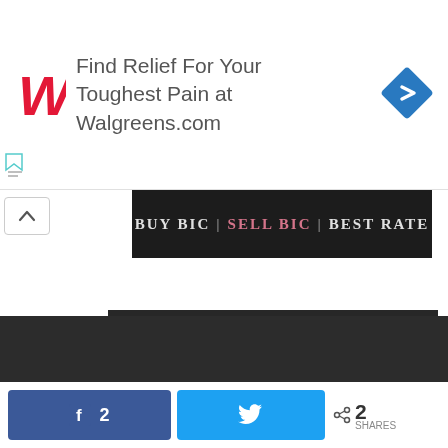[Figure (screenshot): Walgreens advertisement banner reading 'Find Relief For Your Toughest Pain at Walgreens.com' with Walgreens logo and blue diamond navigation icon]
[Figure (screenshot): Dark banner strip with text 'BUY BIC | SELL BIC | BEST RATE' in white and pink letters on black background]
[Figure (screenshot): Site search widget with dark background, white search input field with placeholder 'Search the site', and dark blue Search button]
[Figure (screenshot): Dark footer bar]
[Figure (screenshot): Social share bar with Facebook button showing 2 likes, Twitter bird button, and share count of 2 SHARES]